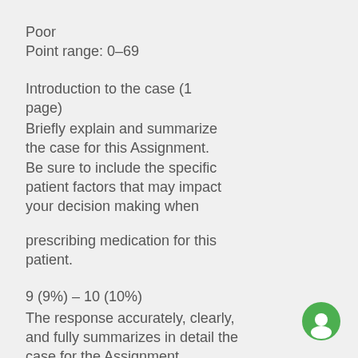Poor
Point range: 0–69
Introduction to the case (1 page)
Briefly explain and summarize the case for this Assignment. Be sure to include the specific patient factors that may impact your decision making when

prescribing medication for this patient.
9 (9%) – 10 (10%)
The response accurately, clearly, and fully summarizes in detail the case for the Assignment.
The response accurately and clearly explains in detail the